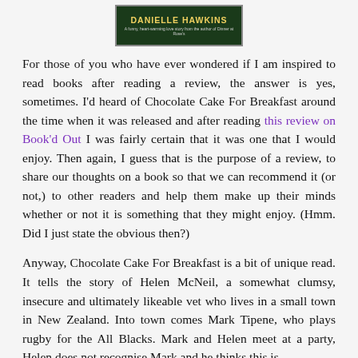[Figure (illustration): Book cover image for Danielle Hawkins with dark green background and gold/yellow title text reading 'DANIELLE HAWKINS' with a subtitle line below.]
For those of you who have ever wondered if I am inspired to read books after reading a review, the answer is yes, sometimes. I'd heard of Chocolate Cake For Breakfast around the time when it was released and after reading this review on Book'd Out I was fairly certain that it was one that I would enjoy. Then again, I guess that is the purpose of a review, to share our thoughts on a book so that we can recommend it (or not,) to other readers and help them make up their minds whether or not it is something that they might enjoy. (Hmm. Did I just state the obvious then?)
Anyway, Chocolate Cake For Breakfast is a bit of unique read. It tells the story of Helen McNeil, a somewhat clumsy, insecure and ultimately likeable vet who lives in a small town in New Zealand. Into town comes Mark Tipene, who plays rugby for the All Blacks. Mark and Helen meet at a party, Helen does not recognise Mark and he thinks this is